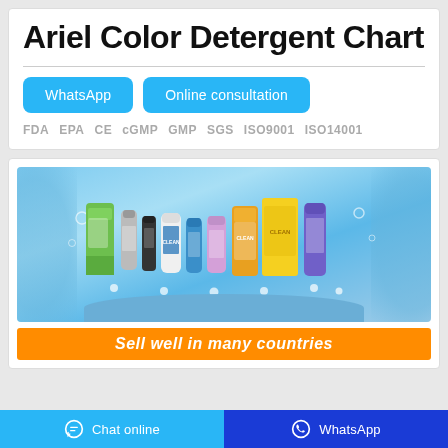Ariel Color Detergent Chart
WhatsApp   Online consultation
FDA  EPA  CE  cGMP  GMP  SGS  ISO9001  ISO14001
[Figure (photo): Product display image showing multiple cleaning/detergent product bottles and containers arranged on a blue podium with a light blue aquatic background. An orange banner at the bottom reads 'Sell well in many countries'.]
Chat online   WhatsApp